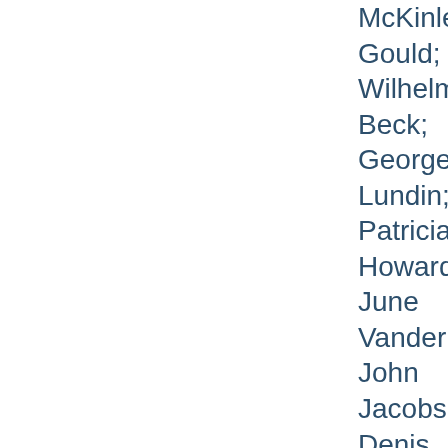McKinle; Gould; Wilhelm; Beck; George; Lundin; Patricia; Howard; June Vander; John Jacobs; Denis McCarth; Hazel Lewis; Leigh Van Ausdall; Liz Silvers; Alice Pasel; Mary Balzer; Dane Larson; Carol Hender; Nancy; Hall